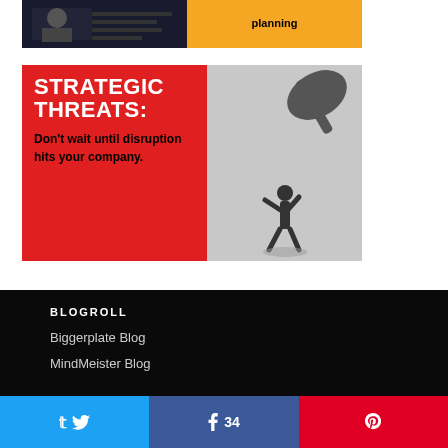[Figure (illustration): Top banner with dark photo on left and yellow background with 'planning' text on right]
[Figure (infographic): Strategic Threats banner: red left panel with white bold text 'STRATEGIC THREATS:' and black text 'Don't wait until disruption hits your company.' Right panel shows grayscale photo of person pushing against giant hammer shadow]
BLOGROLL
Biggerplate Blog
MindMeister Blog
[Figure (infographic): Social share bar with Twitter button, Facebook button showing count 34, and Pinterest button]